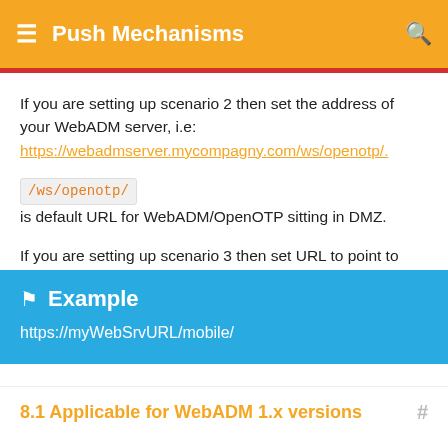Push Mechanisms
If you are setting up scenario 2 then set the address of your WebADM server, i.e: https://webadmserver.mycompagny.com/ws/openotp/.
/ws/openotp/ is default URL for WebADM/OpenOTP sitting in DMZ.
If you are setting up scenario 3 then set URL to point to where you installed Mobile Proxy Script.
Example
https://myWebSrvURL/mobile/
8.1 Applicable for WebADM 1.x versions